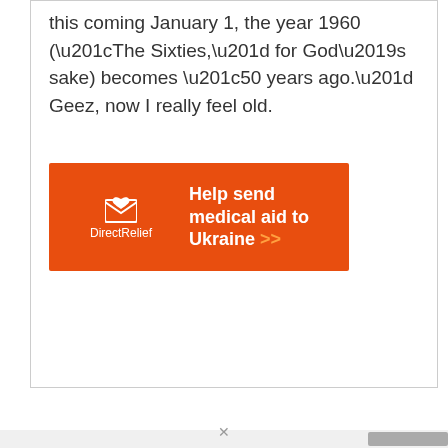this coming January 1, the year 1960 (“The Sixties,” for God’s sake) becomes “50 years ago.” Geez, now I really feel old.
[Figure (other): Direct Relief advertisement banner in orange: logo with envelope icon and 'Direct Relief' text on left, bold white text 'Help send medical aid to Ukraine' with orange double-arrow '>>' on right.]